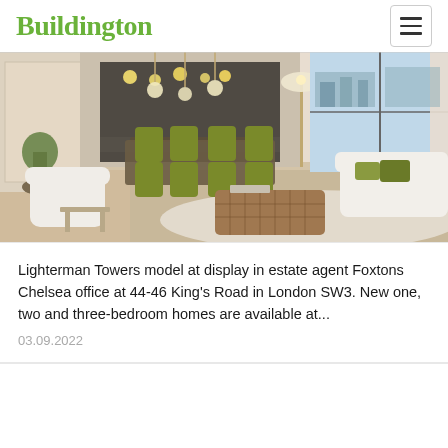Buildington
[Figure (photo): Interior of a modern luxury apartment showing a living and dining area with large windows, white sofas, a tufted brown ottoman coffee table, olive-green dining chairs around a table, pendant lights, and city views.]
Lighterman Towers model at display in estate agent Foxtons Chelsea office at 44-46 King's Road in London SW3. New one, two and three-bedroom homes are available at...
03.09.2022